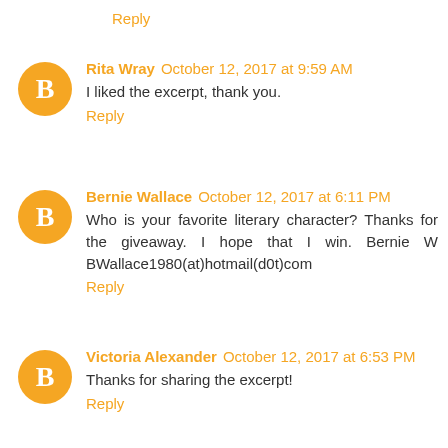Reply
Rita Wray  October 12, 2017 at 9:59 AM
I liked the excerpt, thank you.
Reply
Bernie Wallace  October 12, 2017 at 6:11 PM
Who is your favorite literary character? Thanks for the giveaway. I hope that I win. Bernie W BWallace1980(at)hotmail(d0t)com
Reply
Victoria Alexander  October 12, 2017 at 6:53 PM
Thanks for sharing the excerpt!
Reply